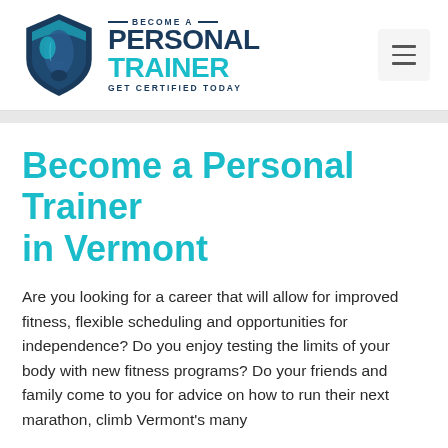[Figure (logo): Become a Personal Trainer - Get Certified Today logo with shield icon containing muscular arm graphic]
Become a Personal Trainer in Vermont
Are you looking for a career that will allow for improved fitness, flexible scheduling and opportunities for independence? Do you enjoy testing the limits of your body with new fitness programs? Do your friends and family come to you for advice on how to run their next marathon, climb Vermont's many